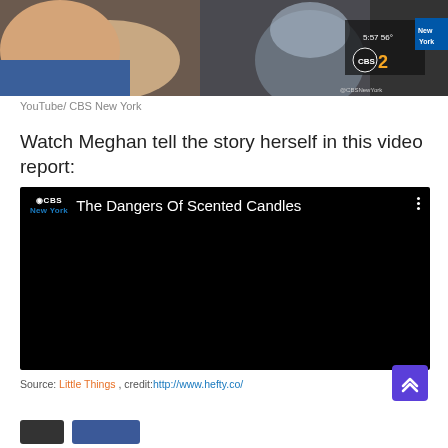[Figure (screenshot): Screenshot of a CBS New York video thumbnail showing a person near a glass candle jar, with a CBS 2 logo overlay showing 5:57 56 degrees]
YouTube/ CBS New York
Watch Meghan tell the story herself in this video report:
[Figure (screenshot): Embedded video player with black background showing CBS New York logo and title 'The Dangers Of Scented Candles' with a three-dot menu icon]
Source: Little Things , credit:http://www.hefty.co/